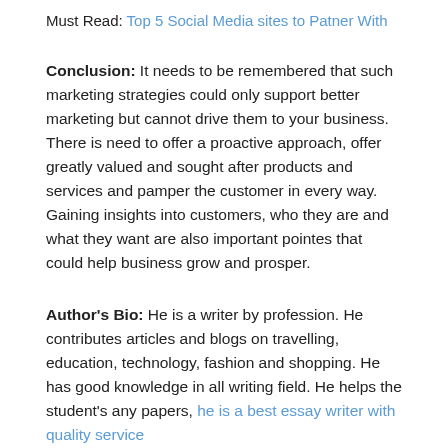Must Read: Top 5 Social Media sites to Patner With
Conclusion: It needs to be remembered that such marketing strategies could only support better marketing but cannot drive them to your business. There is need to offer a proactive approach, offer greatly valued and sought after products and services and pamper the customer in every way. Gaining insights into customers, who they are and what they want are also important pointes that could help business grow and prosper.
Author's Bio: He is a writer by profession. He contributes articles and blogs on travelling, education, technology, fashion and shopping. He has good knowledge in all writing field. He helps the student's any papers, he is a best essay writer with quality service
Over to you, what's your say about this brief content?